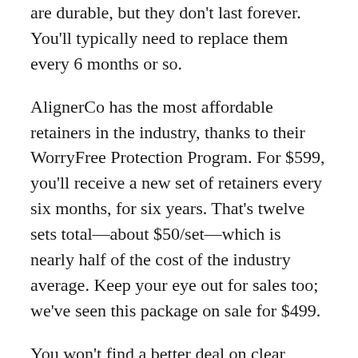are durable, but they don't last forever. You'll typically need to replace them every 6 months or so.
AlignerCo has the most affordable retainers in the industry, thanks to their WorryFree Protection Program. For $599, you'll receive a new set of retainers every six months, for six years. That's twelve sets total—about $50/set—which is nearly half of the cost of the industry average. Keep your eye out for sales too; we've seen this package on sale for $499.
You won't find a better deal on clear aligner treatment than AlignerCo, but that doesn't mean that ClearCorrect is an all out price gouge. They have understandably higher prices due to the